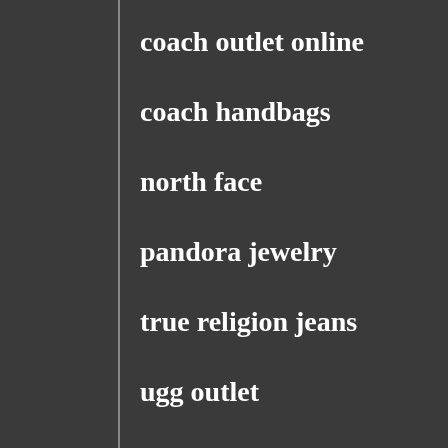coach outlet online
coach handbags
north face
pandora jewelry
true religion jeans
ugg outlet